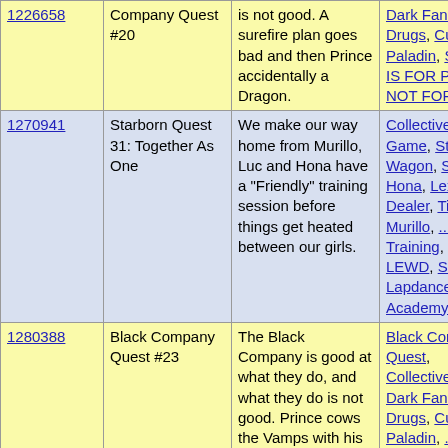| ID | Title | Description | Tags |
| --- | --- | --- | --- |
| 1226658 | Company Quest #20 | is not good. A surefire plan goes bad and then Prince accidentally a Dragon. | Dark Fantasy, Drugs, Cutie Paladin, SAINT IS FOR PURE NOT FOR LE... |
| 1270941 | Starborn Quest 31: Together As One | We make our way home from Murillo, Luc and Hona have a "Friendly" training session before things get heated between our girls. | Collective Game, Star, Wagon, Starb... Hona, Lex, Dealer, Tinton, Murillo, ... Training, LEWD, Strip, Lapdance, M... Academy |
| 1280388 | Black Company Quest #23 | The Black Company is good at what they do, and what they do is not good. Prince cows the Vamps with his... | Black Company Quest, Collective Ga... Dark Fantasy, Drugs, Cutie Paladin, ... SAINT IS FOR PURE NOT FOR LE... |